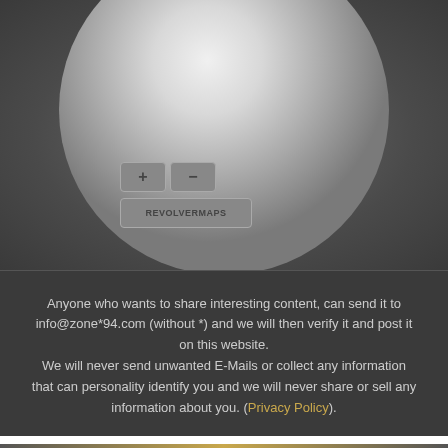[Figure (illustration): 3D rendered globe/sphere with white-gray gradient shading on a dark gray background, with zoom plus and minus buttons and a REVOLVERMAPS label button below]
Anyone who wants to share interesting content, can send it to info@zone*94.com (without *) and we will then verify it and post it on this website.
We will never send unwanted E-Mails or collect any information that can personality identify you and we will never share or sell any information about you. (Privacy Policy).